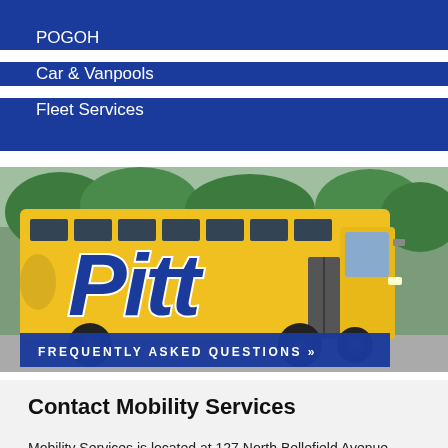POGOH
Car & Vanpools
Fleet Services
[Figure (photo): A yellow university shuttle bus with 'Pitt' written in large blue letters on the side, parked outdoors with trees in the background.]
FREQUENTLY ASKED QUESTIONS »
Contact Mobility Services
Mobility Services is located at 127 North Bellefield Avenue, Pittsburgh, PA 15260. You are welcome to walk-in Monday through Friday from 8:00-11:30am or 12:30-4:00pm, or you